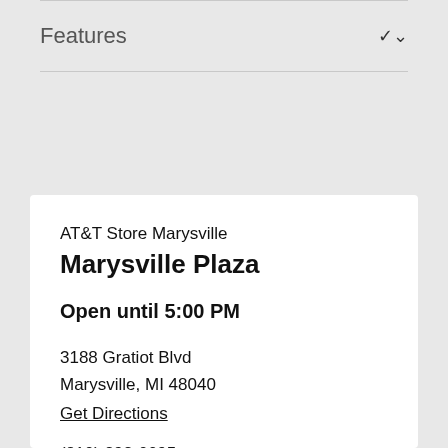Features
AT&T Store Marysville
Marysville Plaza
Open until 5:00 PM
3188 Gratiot Blvd
Marysville, MI 48040
Get Directions
(810) 292-0095